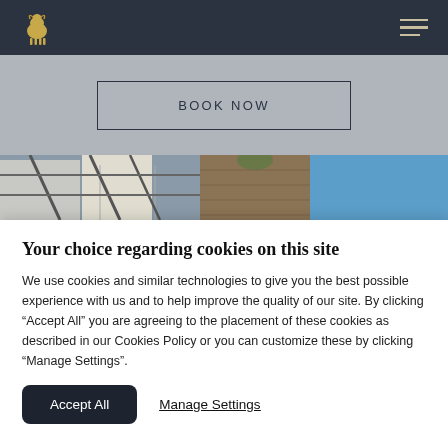[Navigation bar with logo and hamburger menu]
BOOK NOW
[Figure (photo): Street-level view of buildings with metal railings, brick facade, and blue sky visible]
Your choice regarding cookies on this site
We use cookies and similar technologies to give you the best possible experience with us and to help improve the quality of our site. By clicking “Accept All” you are agreeing to the placement of these cookies as described in our Cookies Policy or you can customize these by clicking “Manage Settings”.
Accept All
Manage Settings